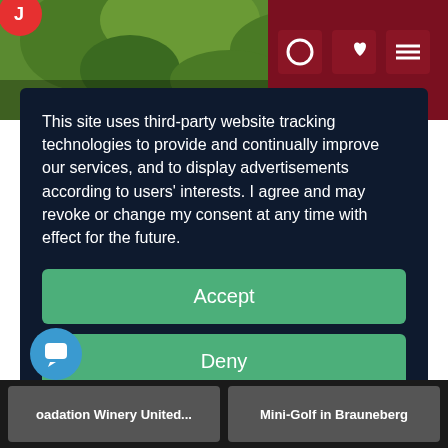[Figure (screenshot): Top portion of a website with green foliage background and dark red navigation icons on the right]
This site uses third-party website tracking technologies to provide and continually improve our services, and to display advertisements according to users' interests. I agree and may revoke or change my consent at any time with effect for the future.
Accept
Deny
more
Powered by  usercentrics & eRecht24
Imprint | Privacy Policy
oadation Winery United...
Mini-Golf in Brauneberg